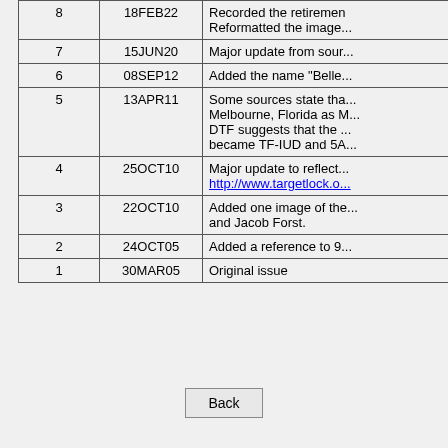| Rev | Date | Description |
| --- | --- | --- |
| 8 | 18FEB22 | Recorded the retirement. Reformatted the image... |
| 7 | 15JUN20 | Major update from sour... |
| 6 | 08SEP12 | Added the name "Belle... |
| 5 | 13APR11 | Some sources state tha... Melbourne, Florida as M... DTF suggests that the ... became TF-IUD and 5A... |
| 4 | 25OCT10 | Major update to reflect... http://www.targetlock.o... |
| 3 | 22OCT10 | Added one image of the... and Jacob Forst. |
| 2 | 24OCT05 | Added a reference to 9... |
| 1 | 30MAR05 | Original issue |
Back